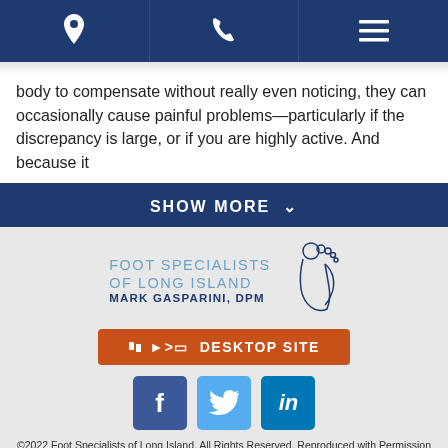Navigation bar with location, phone, and menu icons
body to compensate without really even noticing, they can occasionally cause painful problems—particularly if the discrepancy is large, or if you are highly active. And because it
SHOW MORE
[Figure (logo): Foot Specialists of Long Island logo with foot icon, text reads FOOT SPECIALISTS OF LONG ISLAND, MARK GASPARINI, DPM]
DESKTOP SITE
[Figure (other): Social media icons: Facebook (blue), Twitter (light blue), LinkedIn (blue)]
©2022 Foot Specialists of Long Island, All Rights Reserved, Reproduced with Permission Privacy Policy
Website Built by  FOSTER WEB MARKETING
Website Powered By  DYNAMIC SELF-SYNDICATION (DSS™)